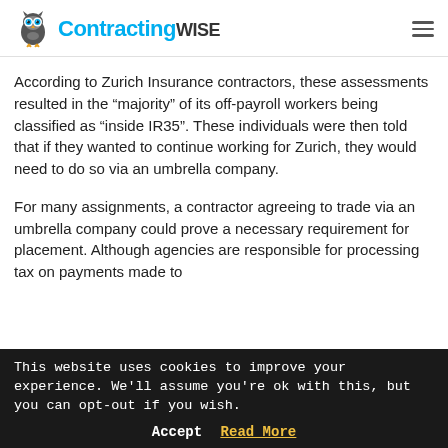Contracting WISE
According to Zurich Insurance contractors, these assessments resulted in the “majority” of its off-payroll workers being classified as “inside IR35”. These individuals were then told that if they wanted to continue working for Zurich, they would need to do so via an umbrella company.
For many assignments, a contractor agreeing to trade via an umbrella company could prove a necessary requirement for placement. Although agencies are responsible for processing tax on payments made to
This website uses cookies to improve your experience. We’ll assume you’re ok with this, but you can opt-out if you wish.
Accept   Read More